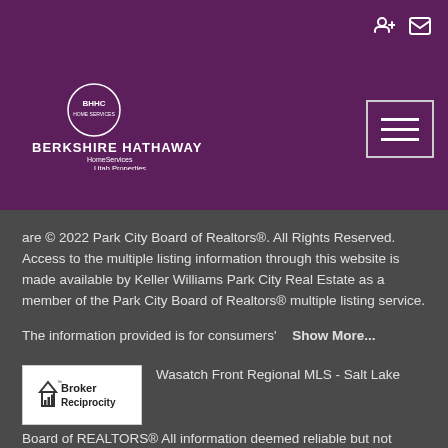[Figure (logo): Berkshire Hathaway HomeServices Utah Properties logo in white on dark purple background]
are © 2022 Park City Board of Realtors®. All Rights Reserved. Access to the multiple listing information through this website is made available by Keller Williams Park City Real Estate as a member of the Park City Board of Realtors® multiple listing service.
The information provided is for consumers'   Show More...
[Figure (logo): Broker Reciprocity logo — house icon with bar chart inside, text 'Broker Reciprocity']
Wasatch Front Regional MLS - Salt Lake Board of REALTORS® All information deemed reliable but not guaranteed. All properties are subject to prior sale, change or withdrawal. Neither listing broker(s) or information provider(s)